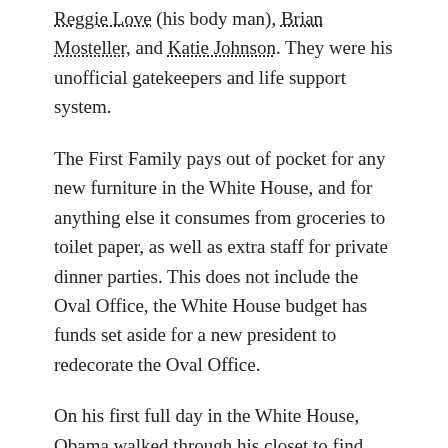Reggie Love (his body man), Brian Mosteller, and Katie Johnson. They were his unofficial gatekeepers and life support system.
The First Family pays out of pocket for any new furniture in the White House, and for anything else it consumes from groceries to toilet paper, as well as extra staff for private dinner parties. This does not include the Oval Office, the White House budget has funds set aside for a new president to redecorate the Oval Office.
On his first full day in the White House, Obama walked through his closet to find every shirt, suit, and pair of pants he owned perfectly pressed and hung in orderly rows. His shoes were shined to a high-gloss, every pair of socks and shorts were folded and sorted like a department store display.